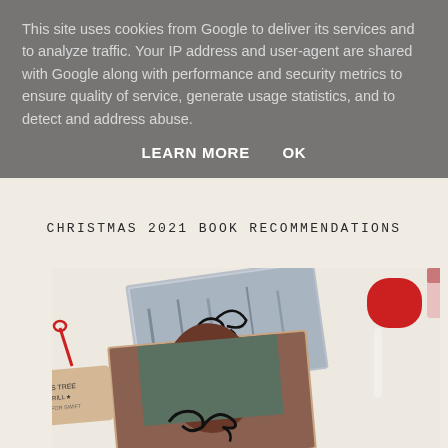This site uses cookies from Google to deliver its services and to analyze traffic. Your IP address and user-agent are shared with Google along with performance and security metrics to ensure quality of service, generate usage statistics, and to detect and address abuse.
LEARN MORE    OK
CHRISTMAS 2021 BOOK RECOMMENDATIONS
[Figure (photo): A photo showing signed Taylor Swift CDs/albums on a knitted white surface, with a red Christmas ornament tag partially visible on the left reading 'AS TREE RILL * FOR SWIFT', and a white bottle with red cap on the right.]